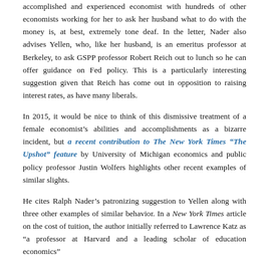accomplished and experienced economist with hundreds of other economists working for her to ask her husband what to do with the money is, at best, extremely tone deaf. In the letter, Nader also advises Yellen, who, like her husband, is an emeritus professor at Berkeley, to ask GSPP professor Robert Reich out to lunch so he can offer guidance on Fed policy. This is a particularly interesting suggestion given that Reich has come out in opposition to raising interest rates, as have many liberals.
In 2015, it would be nice to think of this dismissive treatment of a female economist's abilities and accomplishments as a bizarre incident, but a recent contribution to The New York Times “The Upshot” feature by University of Michigan economics and public policy professor Justin Wolfers highlights other recent examples of similar slights.
He cites Ralph Nader’s patronizing suggestion to Yellen along with three other examples of similar behavior. In a New York Times article on the cost of tuition, the author initially referred to Lawrence Katz as “a professor at Harvard and a leading scholar of education economics”